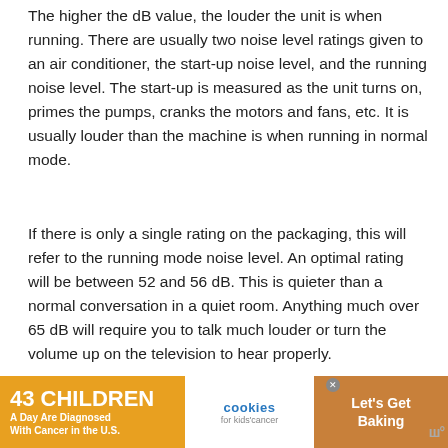The higher the dB value, the louder the unit is when running. There are usually two noise level ratings given to an air conditioner, the start-up noise level, and the running noise level. The start-up is measured as the unit turns on, primes the pumps, cranks the motors and fans, etc. It is usually louder than the machine is when running in normal mode.
If there is only a single rating on the packaging, this will refer to the running mode noise level. An optimal rating will be between 52 and 56 dB. This is quieter than a normal conversation in a quiet room. Anything much over 65 dB will require you to talk much louder or turn the volume up on the television to hear properly.
Related Article – How to Make Your Portable AC
[Figure (infographic): Advertisement banner at bottom: orange section with '43 CHILDREN A Day Are Diagnosed With Cancer in the U.S.', white section with cookies for kids cancer logo, brown section with 'Let's Get Baking']